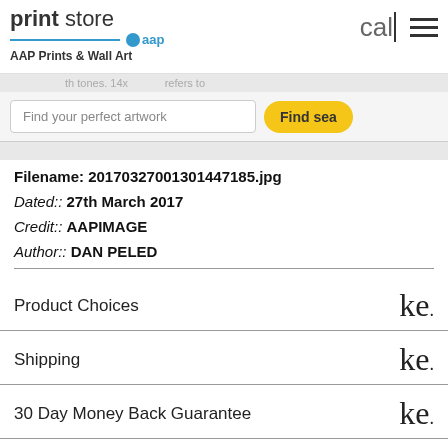print store • aap — AAP Prints & Wall Art
…with tones. 14x… refers to
Find your perfect artwork
Find sea
Filename: 20170327001301447185.jpg
Dated:: 27th March 2017
Credit:: AAPIMAGE
Author:: DAN PELED
|  |  |
| --- | --- |
| Product Choices | ke. |
| Shipping | ke. |
| 30 Day Money Back Guarantee | ke. |